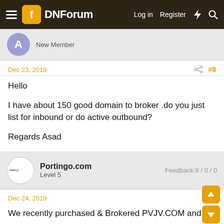DNForum — Log in  Register
New Member
Dec 23, 2019   #8
Hello

I have about 150 good domain to broker .do you just list for inbound or do active outbound?

Regards Asad
Portingo.com   Feedback:8 / 0 / 0
Level 5
Dec 24, 2019
We recently purchased & Brokered PVJV.COM and